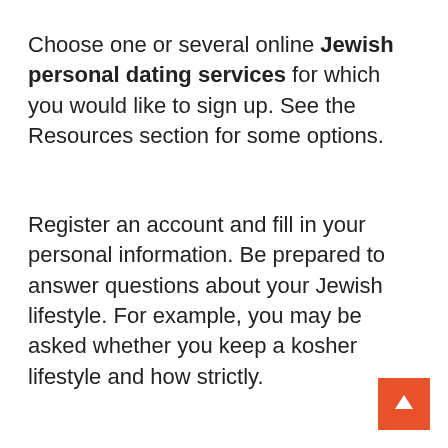Choose one or several online Jewish personal dating services for which you would like to sign up. See the Resources section for some options.
Register an account and fill in your personal information. Be prepared to answer questions about your Jewish lifestyle. For example, you may be asked whether you keep a kosher lifestyle and how strictly.
[Figure (other): Orange/red square button with a white upward-pointing arrow icon, positioned in the bottom-right corner of the page.]